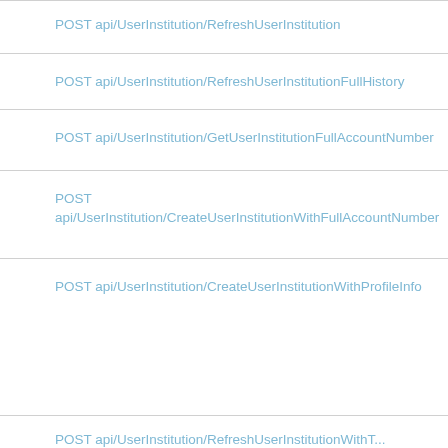POST api/UserInstitution/RefreshUserInstitution
POST api/UserInstitution/RefreshUserInstitutionFullHistory
POST api/UserInstitution/GetUserInstitutionFullAccountNumber
POST api/UserInstitution/CreateUserInstitutionWithFullAccountNumber
POST api/UserInstitution/CreateUserInstitutionWithProfileInfo
POST api/UserInstitution/RefreshUserInstitutionWithT...